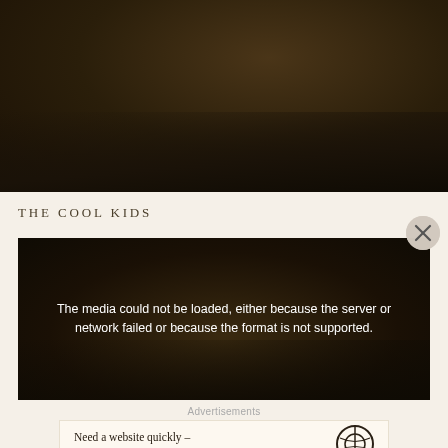[Figure (photo): Dark sepia-toned photograph showing what appears to be book pages or paper in low light, heavily shadowed with warm brown tones]
THE COOL KIDS
[Figure (screenshot): Video player with dark brown background showing error message: 'The media could not be loaded, either because the server or network failed or because the format is not supported.']
Advertisements
Need a website quickly – and on a budget?